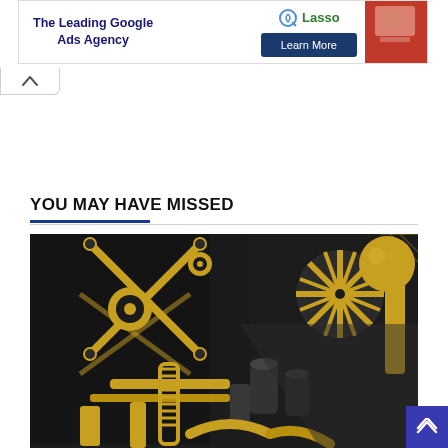[Figure (screenshot): Online advertisement banner for 'The Leading Google Ads Agency' with Lasso branding and a 'Learn More' button. Right side shows a partial photo of a person. Top-right has ad close/info icons.]
[Figure (screenshot): Small white tab with a caret/chevron up arrow icon, indicating a collapsible section.]
YOU MAY HAVE MISSED
[Figure (photo): 3D render of a steampunk-style mechanical machine with intricate gold and black pipes, gears, springs, coils, cylinders, and turbine fan components arranged in an industrial aesthetic.]